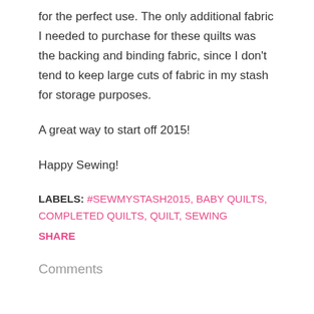for the perfect use. The only additional fabric I needed to purchase for these quilts was the backing and binding fabric, since I don't tend to keep large cuts of fabric in my stash for storage purposes.
A great way to start off 2015!
Happy Sewing!
LABELS: #SEWMYSTASH2015, BABY QUILTS, COMPLETED QUILTS, QUILT, SEWING
SHARE
Comments